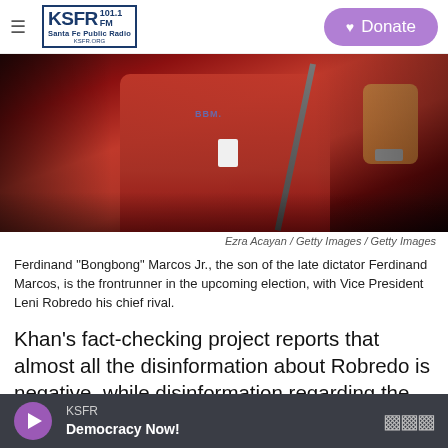KSFR 101.1 FM Santa Fe Public Radio | Donate
[Figure (photo): Ferdinand 'Bongbong' Marcos Jr. in a red polo shirt with a lanyard badge, speaking at a microphone, dark background]
Ezra Acayan / Getty Images / Getty Images
Ferdinand "Bongbong" Marcos Jr., the son of the late dictator Ferdinand Marcos, is the frontrunner in the upcoming election, with Vice President Leni Robredo his chief rival.
Khan's fact-checking project reports that almost all the disinformation about Robredo is negative, while disinformation regarding the scion of the Marcos
KSFR — Democracy Now!